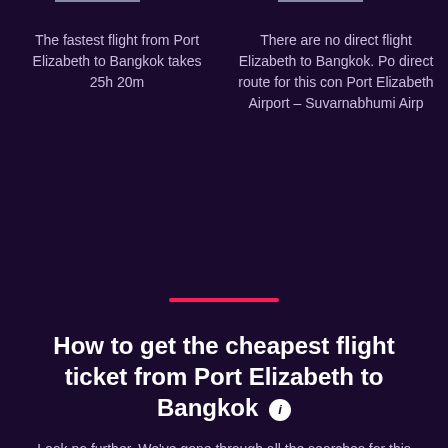The fastest flight from Port Elizabeth to Bangkok takes 25h 20m
There are no direct flights from Port Elizabeth to Bangkok. Port Elizabeth Airport – Suvarnabhumi Airport
How to get the cheapest flight ticket from Port Elizabeth to Bangkok
Look no further. We've gone through all the searches for this route on momondo so you have the important information and insights to find the cheapest flight ticket for your trip